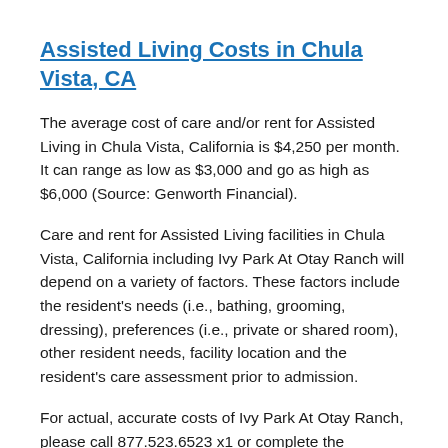Assisted Living Costs in Chula Vista, CA
The average cost of care and/or rent for Assisted Living in Chula Vista, California is $4,250 per month. It can range as low as $3,000 and go as high as $6,000 (Source: Genworth Financial).
Care and rent for Assisted Living facilities in Chula Vista, California including Ivy Park At Otay Ranch will depend on a variety of factors. These factors include the resident's needs (i.e., bathing, grooming, dressing), preferences (i.e., private or shared room), other resident needs, facility location and the resident's care assessment prior to admission.
For actual, accurate costs of Ivy Park At Otay Ranch, please call 877.523.6523 x1 or complete the